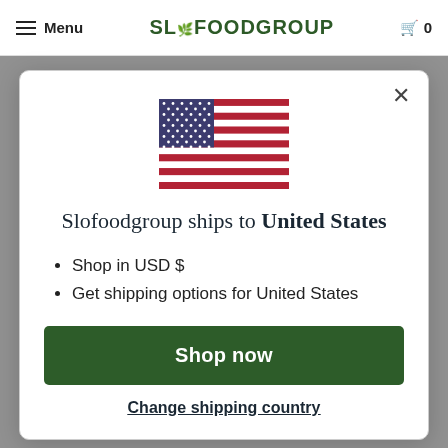Menu  SLOFOODGROUP  0
[Figure (illustration): US flag SVG illustration]
Slofoodgroup ships to United States
Shop in USD $
Get shipping options for United States
Shop now
Change shipping country
water added is completely absorbed (16-20 minutes) by the rice